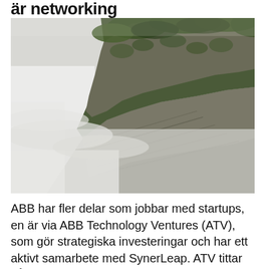är networking
[Figure (photo): A dramatic cliff face covered with green vegetation, partially obscured by low-lying mist or cloud, creating an atmospheric mountain landscape.]
ABB har fler delar som jobbar med startups, en är via ABB Technology Ventures (ATV), som gör strategiska investeringar och har ett aktivt samarbete med SynerLeap. ATV tittar på 2 000